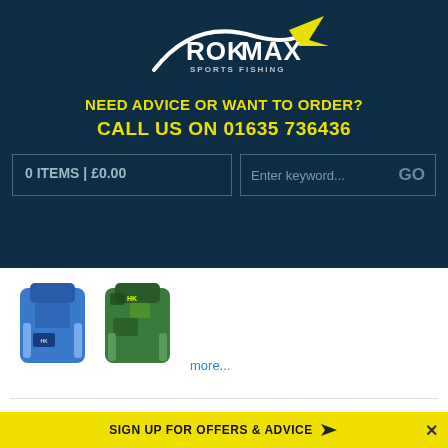[Figure (logo): ROKMAX Sports Fishing logo - white swoosh/fish shape with yellow fins on dark navy background]
NEED ADVICE OR WANT TO ORDER?
CALL US ON 01635 736436
0 ITEMS | £0.00
Enter keyword...   GO
[Figure (photo): Two fishing backpacks - one blue and one green/camouflage]
more...
CONTACT
DELIVERY
ABOUT US
REVIEWS
SIGN UP FOR OFFERS & ADVICE